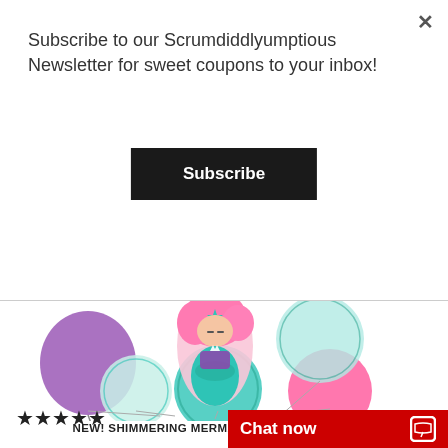Subscribe to our Scrumdiddlyumptious Newsletter for sweet coupons to your inbox!
Subscribe
[Figure (photo): Mermaid balloon bouquet product photo showing a mermaid character balloon with pink hair and teal tail, surrounded by purple, teal, and pink round balloons with mermaid decorations]
NEW! SHIMMERING MERMAID BALLOON BOUQUET
★★★★★
Chat now